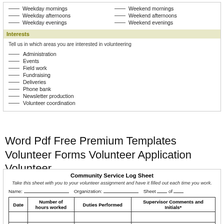___ Weekday mornings   ___ Weekend mornings
___ Weekday afternoons   ___ Weekend afternoons
___ Weekday evenings   ___ Weekend evenings
Interests
Tell us in which areas you are interested in volunteering
___ Administration
___ Events
___ Field work
___ Fundraising
___ Deliveries
___ Phone bank
___ Newsletter production
___ Volunteer coordination
Word Pdf Free Premium Templates Volunteer Forms Volunteer Application Volunteer
| Date | Number of hours worked | Duties Performed | Supervisor Comments and Initials* |
| --- | --- | --- | --- |
|  |  |  |  |
|  |  |  |  |
|  |  |  |  |